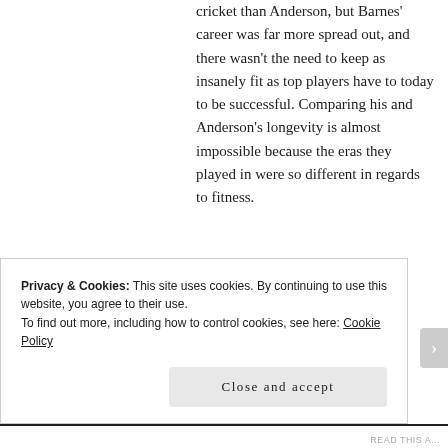cricket than Anderson, but Barnes' career was far more spread out, and there wasn't the need to keep as insanely fit as top players have to today to be successful. Comparing his and Anderson's longevity is almost impossible because the eras they played in were so different in regards to fitness.
★ Like
↩ Reply
Privacy & Cookies: This site uses cookies. By continuing to use this website, you agree to their use.
To find out more, including how to control cookies, see here: Cookie Policy
Close and accept